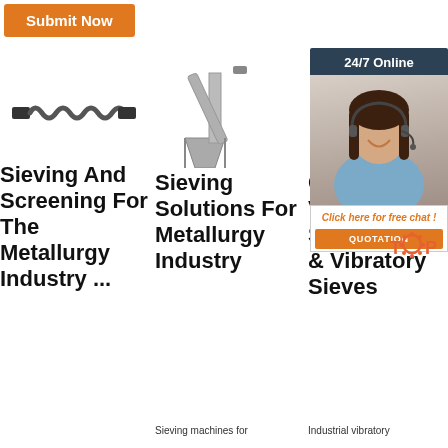[Figure (other): Orange Submit Now button at top left]
[Figure (photo): Industrial spring/coil component for sieving machinery]
Sieving And Screening For The Metallurgy Industry ...
[Figure (photo): Stainless steel screw conveyor / auger machine]
Sieving Solutions For Metallurgy Industry
Sieving machines for
[Figure (photo): 24/7 Online chat widget with customer service representative photo, Click here for free chat!, QUOTATION button, and TOP logo]
Circular Vibratory Screeners & Vibratory Sieves
Industrial vibratory